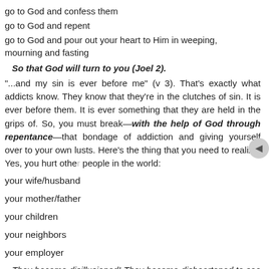go to God and confess them
go to God and repent
go to God and pour out your heart to Him in weeping, mourning and fasting
So that God will turn to you (Joel 2).
"...and my sin is ever before me" (v 3). That's exactly what addicts know. They know that they're in the clutches of sin. It is ever before them. It is ever something that they are held in the grips of. So, you must break—with the help of God through repentance—that bondage of addiction and giving yourself over to your own lusts. Here's the thing that you need to realize: Yes, you hurt other people in the world:
your wife/husband
your mother/father
your children
your neighbors
your employer
They become disillusioned! They become disheartened to see you go through all of these things! Everyone of them are willing and hopeful that you will recover and repent! And God wants you to!
But here's what you have to admit, v 4: "Against You, You only, have